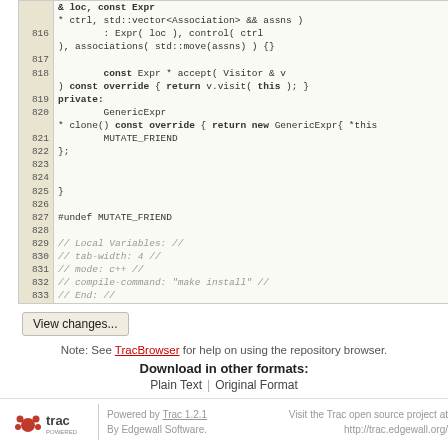[Figure (screenshot): Source code viewer showing C++ code lines 816-833 with line numbers on left in beige background and code on right in light cream background]
View changes...
Note: See TracBrowser for help on using the repository browser.
Download in other formats:
Plain Text | Original Format
Powered by Trac 1.2.1 By Edgewall Software. Visit the Trac open source project at http://trac.edgewall.org/